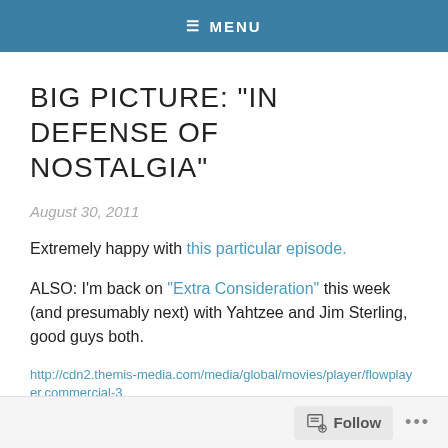≡ MENU
BIG PICTURE: "IN DEFENSE OF NOSTALGIA"
August 30, 2011
Extremely happy with this particular episode.
ALSO: I'm back on "Extra Consideration" this week (and presumably next) with Yahtzee and Jim Sterling, good guys both.
http://cdn2.themis-media.com/media/global/movies/player/flowplayer.commercial-3
Follow ...